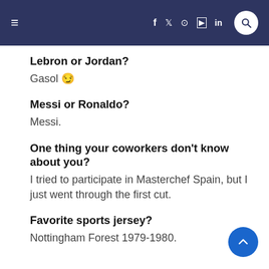Navigation bar with hamburger menu and social icons: f, Twitter, Instagram, YouTube, LinkedIn, and search
Lebron or Jordan?
Gasol 😏
Messi or Ronaldo?
Messi.
One thing your coworkers don't know about you?
I tried to participate in Masterchef Spain, but I just went through the first cut.
Favorite sports jersey?
Nottingham Forest 1979-1980.